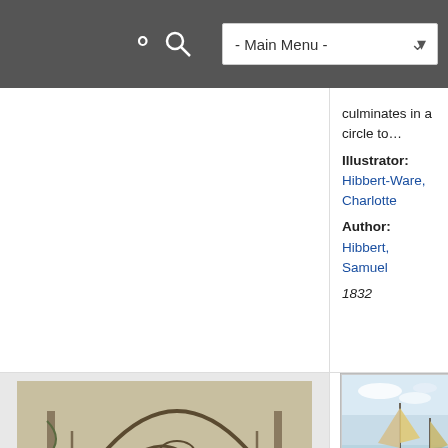- Main Menu -
culminates in a circle to…
Illustrator: Hibbert-Ware, Charlotte
Author: Hibbert, Samuel
1832
[Figure (illustration): Sketch/engraving of Tintern Abbey interior showing gothic arches and ruins]
View of Tintern Abbey
[Figure (illustration): Oil painting of ships at sea off the French Coast with sailboats visible]
Seapiece: Off the French Coast
Various ships are visible in the